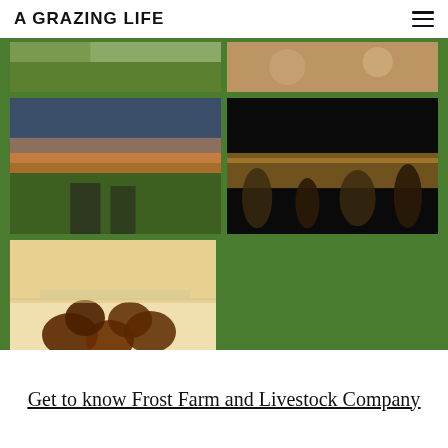A GRAZING LIFE
[Figure (photo): Photo grid with 5 farm/event photos on green background: top row shows a field scene and people socializing; middle row shows a sunset field scene and people dancing under a tent at night; bottom left shows a plate of meatballs with greens]
Get to know Frost Farm and Livestock Company